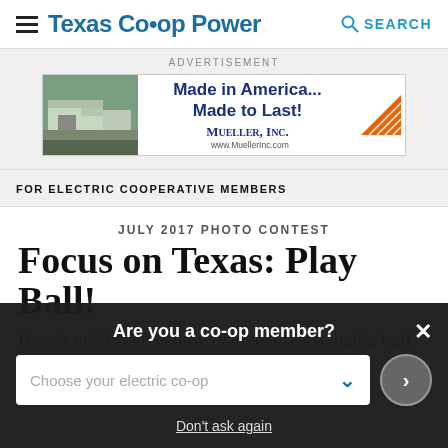Texas Co-op Power | SEARCH
[Figure (infographic): Advertisement banner for Mueller Inc. showing a metal building photo on the left and text 'Made in America... Made to Last!' with the Mueller Inc. logo and www.MuellerInc.com]
FOR ELECTRIC COOPERATIVE MEMBERS
JULY 2017 PHOTO CONTEST
Focus on Texas: Play Ball!
Heads up! Photos show readers clearly had a ball
Are you a co-op member? Choose your electric co-op  Don't ask again